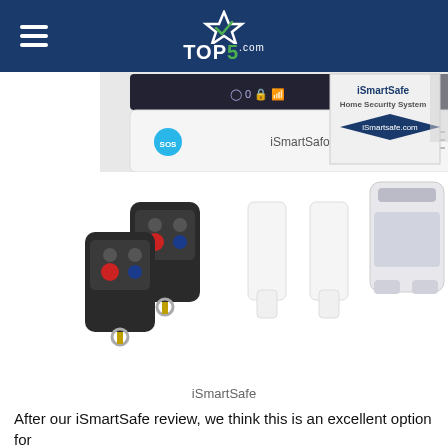TOP5.com
[Figure (photo): iSmartSafe home security system product collage: top portion shows the iSmartSafe alarm panel control unit with SOS button and touchscreen, alongside an iSmartSafe branded product box. Bottom portion shows two key fob remote controls, two door/window sensors, and a PIR motion detector.]
iSmartSafe
After our iSmartSafe review, we think this is an excellent option for